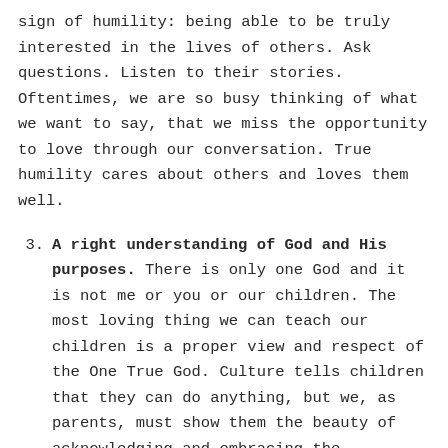sign of humility: being able to be truly interested in the lives of others. Ask questions. Listen to their stories. Oftentimes, we are so busy thinking of what we want to say, that we miss the opportunity to love through our conversation. True humility cares about others and loves them well.
3. A right understanding of God and His purposes. There is only one God and it is not me or you or our children. The most loving thing we can teach our children is a proper view and respect of the One True God. Culture tells children that they can do anything, but we, as parents, must show them the beauty of acknowledging and embracing the boundaries that God has lovingly placed...